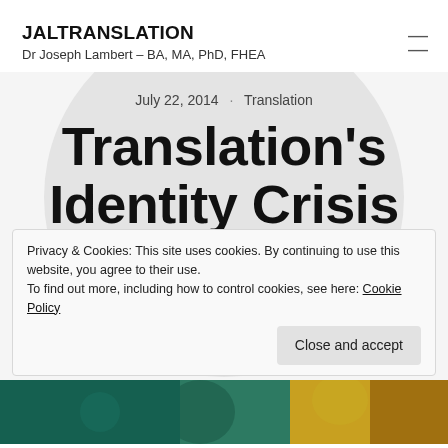JALTRANSLATION
Dr Joseph Lambert – BA, MA, PhD, FHEA
July 22, 2014 · Translation
Translation's Identity Crisis
Privacy & Cookies: This site uses cookies. By continuing to use this website, you agree to their use.
To find out more, including how to control cookies, see here: Cookie Policy
[Figure (photo): Bottom strip showing a partial image with teal/green and golden yellow tones, appearing to be part of an illustrated or painted figure]